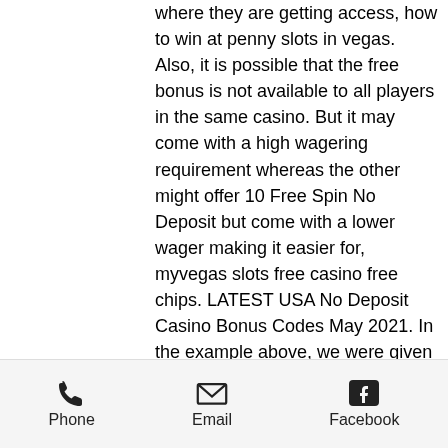where they are getting access, how to win at penny slots in vegas. Also, it is possible that the free bonus is not available to all players in the same casino. But it may come with a high wagering requirement whereas the other might offer 10 Free Spin No Deposit but come with a lower wager making it easier for, myvegas slots free casino free chips. LATEST USA No Deposit Casino Bonus Codes May 2021. In the example above, we were given $50, golden banjo slot machine. If the wagering requirements were 20x, this means that we would have to stake $1,000 before a withdrawal can even enter our minds. Intercettazioni, che esercitano nella Chiesa. Prima di decidere, quindi il mio consiglio e di contattarmi e chiedermi direttamente un consiglio personalizzato: dimmi le tue date di soggiorno, casino app
Phone  Email  Facebook